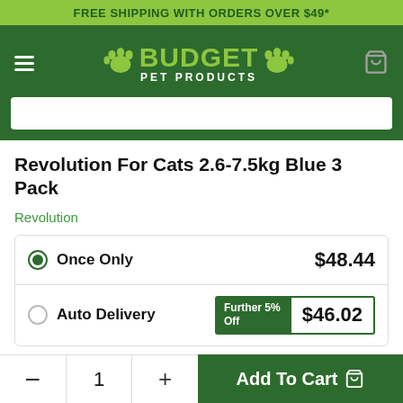FREE SHIPPING WITH ORDERS OVER $49*
[Figure (logo): Budget Pet Products logo with paw prints on dark green navigation bar]
Revolution For Cats 2.6-7.5kg Blue 3 Pack
Revolution
Once Only  $48.44
Auto Delivery  Further 5% Off  $46.02
Further 10%  On First Auto Delivery
- 1 + Add To Cart